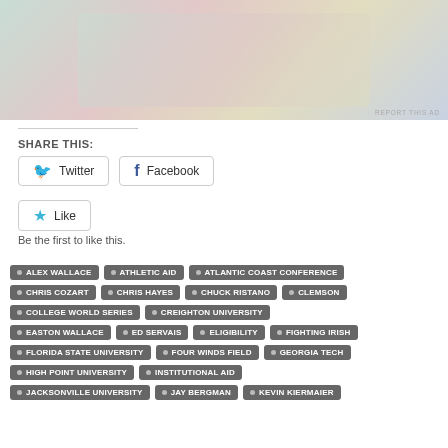[Figure (photo): Cropped advertisement image showing Merck and Hachette branded cards or packages in pastel colors]
REPORT THIS AD
SHARE THIS:
Twitter
Facebook
Like
Be the first to like this.
ALEX WALLACE
ATHLETIC AID
ATLANTIC COAST CONFERENCE
CHRIS COZART
CHRIS HAYES
CHUCK RISTANO
CLEMSON
COLLEGE WORLD SERIES
CREIGHTON UNIVERSITY
EASTON WALLACE
ED SERVAIS
ELIGIBILITY
FIGHTING IRISH
FLORIDA STATE UNIVERSITY
FOUR WINDS FIELD
GEORGIA TECH
HIGH POINT UNIVERSITY
INSTITUTIONAL AID
JACKSONVILLE UNIVERSITY
JAY BERGMAN
KEVIN KIERMAIER